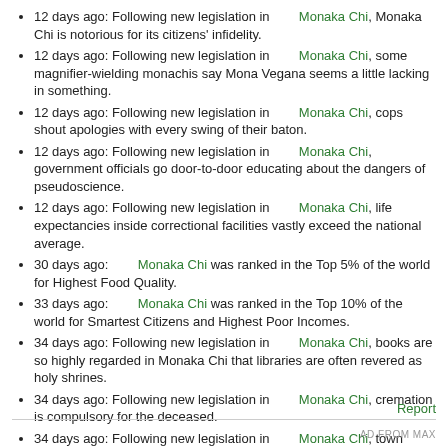12 days ago: Following new legislation in [flag] Monaka Chi, Monaka Chi is notorious for its citizens' infidelity.
12 days ago: Following new legislation in [flag] Monaka Chi, some magnifier-wielding monachis say Mona Vegana seems a little lacking in something.
12 days ago: Following new legislation in [flag] Monaka Chi, cops shout apologies with every swing of their baton.
12 days ago: Following new legislation in [flag] Monaka Chi, government officials go door-to-door educating about the dangers of pseudoscience.
12 days ago: Following new legislation in [flag] Monaka Chi, life expectancies inside correctional facilities vastly exceed the national average.
30 days ago: [flag] Monaka Chi was ranked in the Top 5% of the world for Highest Food Quality.
33 days ago: [flag] Monaka Chi was ranked in the Top 10% of the world for Smartest Citizens and Highest Poor Incomes.
34 days ago: Following new legislation in [flag] Monaka Chi, books are so highly regarded in Monaka Chi that libraries are often revered as holy shrines.
34 days ago: Following new legislation in [flag] Monaka Chi, cremation is compulsory for the deceased.
34 days ago: Following new legislation in [flag] Monaka Chi, town nameplates frequently raise giggles from passing tourists.
More...
Report | AD FROM MAX